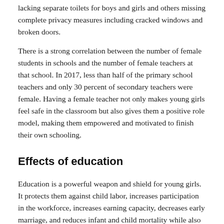lacking separate toilets for boys and girls and others missing complete privacy measures including cracked windows and broken doors.
There is a strong correlation between the number of female students in schools and the number of female teachers at that school. In 2017, less than half of the primary school teachers and only 30 percent of secondary teachers were female. Having a female teacher not only makes young girls feel safe in the classroom but also gives them a positive role model, making them empowered and motivated to finish their own schooling.
Effects of education
Education is a powerful weapon and shield for young girls. It protects them against child labor, increases participation in the workforce, increases earning capacity, decreases early marriage, and reduces infant and child mortality while also having positive effects on child nutrition. Educated women are more likely to understand their rights and how to exercise them socially, politically and economically. Finally, girls' education can create a